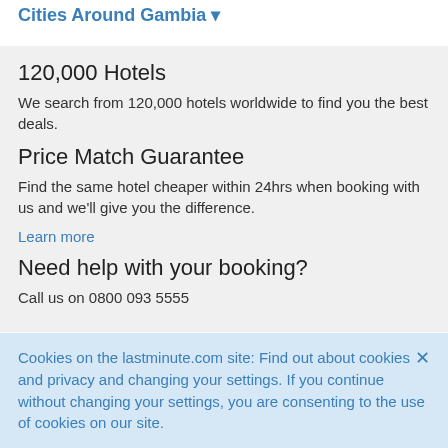Cities Around Gambia ▾
120,000 Hotels
We search from 120,000 hotels worldwide to find you the best deals.
Price Match Guarantee
Find the same hotel cheaper within 24hrs when booking with us and we'll give you the difference.
Learn more
Need help with your booking?
Call us on 0800 093 5555
Cookies on the lastminute.com site: Find out about cookies and privacy and changing your settings. If you continue without changing your settings, you are consenting to the use of cookies on our site.